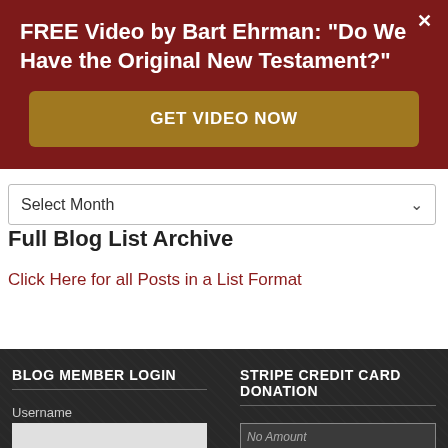FREE Video by Bart Ehrman: "Do We Have the Original New Testament?"
[Figure (screenshot): GET VIDEO NOW button (gold/brown colored button)]
Select Month
Full Blog List Archive
Click Here for all Posts in a List Format
BLOG MEMBER LOGIN
Username
STRIPE CREDIT CARD DONATION